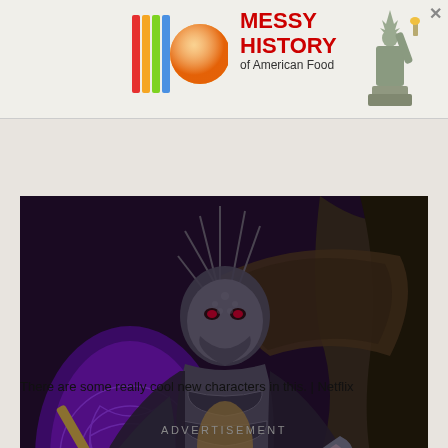[Figure (other): Advertisement banner: colorful logo with vertical bars and a sphere, text 'MESSY HISTORY of American Food' in red, Statue of Liberty graphic, close button X]
elaborate opera.
[Figure (photo): A fantasy creature character in elaborate costume with dragon/insect-like head, antlers/spines, armor, wings, and a large golden curved weapon, against a purple and orange glowing backdrop. From Netflix.]
There are some really cool new characters in this. | Netflix
ADVERTISEMENT